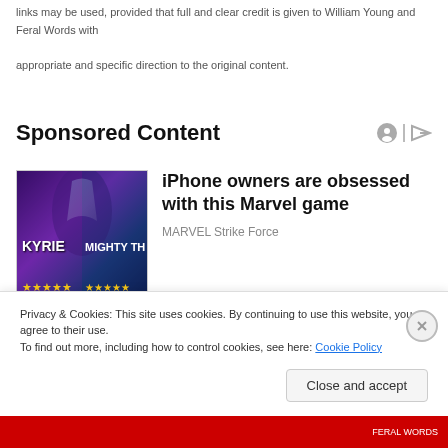links may be used, provided that full and clear credit is given to William Young and Feral Words with appropriate and specific direction to the original content.
Sponsored Content
[Figure (illustration): Advertisement image for MARVEL Strike Force game showing characters KYRIE and MIGHTY THI with star ratings on a purple/blue gradient background]
iPhone owners are obsessed with this Marvel game
MARVEL Strike Force
Privacy & Cookies: This site uses cookies. By continuing to use this website, you agree to their use.
To find out more, including how to control cookies, see here: Cookie Policy
Close and accept